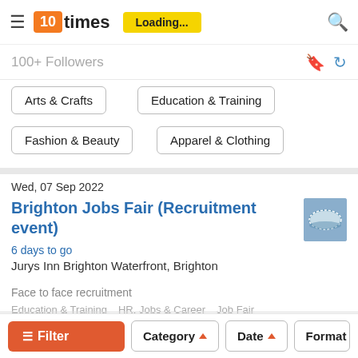10times | Loading...
100+ Followers
Arts & Crafts
Education & Training
Fashion & Beauty
Apparel & Clothing
Wed, 07 Sep 2022
Brighton Jobs Fair (Recruitment event)
6 days to go
Jurys Inn Brighton Waterfront, Brighton
Face to face recruitment
Education & Training   HR, Jobs & Career   Job Fair
Filter   Category   Date   Format